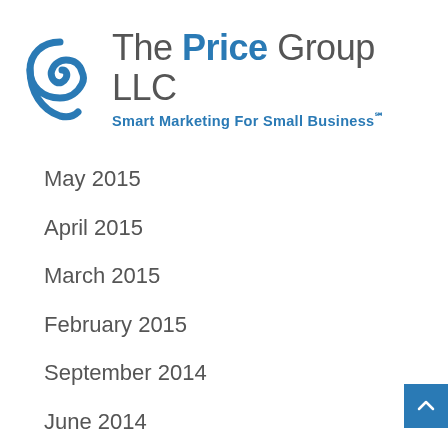[Figure (logo): The Price Group LLC logo with blue spiral P icon and tagline 'Smart Marketing For Small Business℠']
May 2015
April 2015
March 2015
February 2015
September 2014
June 2014
April 2014